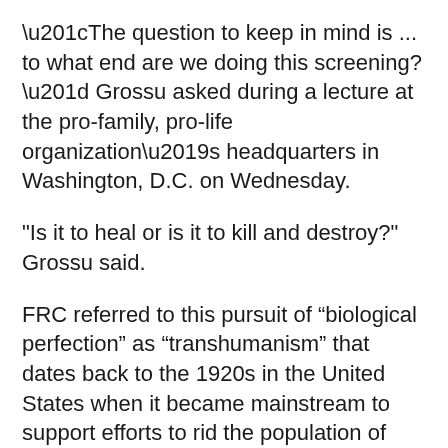“The question to keep in mind is ... to what end are we doing this screening?” Grossu asked during a lecture at the pro-family, pro-life organization’s headquarters in Washington, D.C. on Wednesday.
"Is it to heal or is it to kill and destroy?" Grossu said.
FRC referred to this pursuit of “biological perfection” as “transhumanism” that dates back to the 1920s in the United States when it became mainstream to support efforts to rid the population of those who were “unfit”